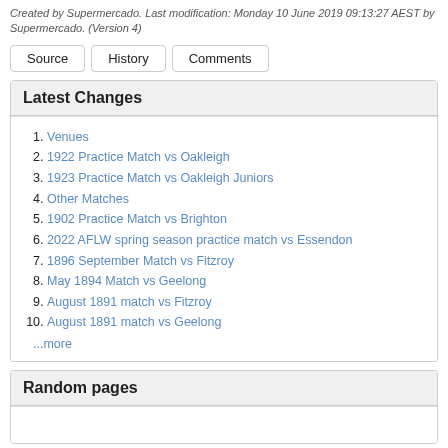Created by Supermercado. Last modification: Monday 10 June 2019 09:13:27 AEST by Supermercado. (Version 4)
Source
History
Comments
Latest Changes
Venues
1922 Practice Match vs Oakleigh
1923 Practice Match vs Oakleigh Juniors
Other Matches
1902 Practice Match vs Brighton
2022 AFLW spring season practice match vs Essendon
1896 September Match vs Fitzroy
May 1894 Match vs Geelong
August 1891 match vs Fitzroy
August 1891 match vs Geelong
...more
Random pages